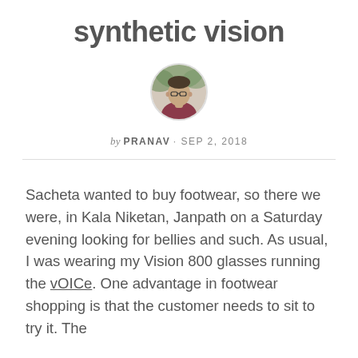synthetic vision
[Figure (photo): Circular avatar photo of a man wearing a red/maroon shirt, with trees/nature in background]
by PRANAV · SEP 2, 2018
Sacheta wanted to buy footwear, so there we were, in Kala Niketan, Janpath on a Saturday evening looking for bellies and such. As usual, I was wearing my Vision 800 glasses running the vOICe. One advantage in footwear shopping is that the customer needs to sit to try it. The